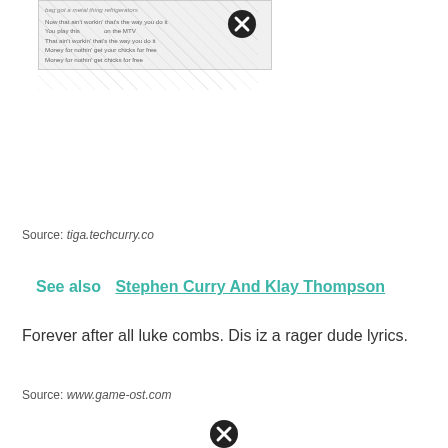[Figure (screenshot): Screenshot of song lyrics text, partially obscured with a watermark pattern]
[Figure (other): Close button (black circle with X) in upper right area]
Source: tiga.techcurry.co
See also  Stephen Curry And Klay Thompson
Forever after all luke combs. Dis iz a rager dude lyrics.
Source: www.game-ost.com
[Figure (other): Close button (black circle with X) at bottom center]